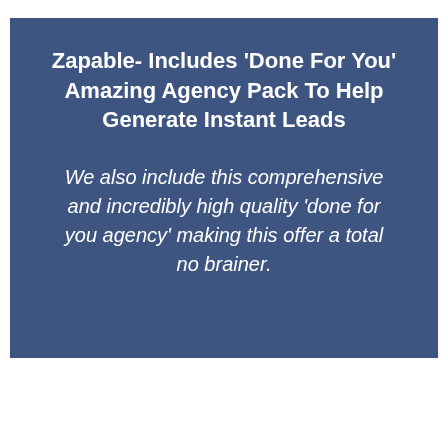Zapable- Includes ‘Done For You’ Amazing Agency Pack To Help Generate Instant Leads
We also include this comprehensive and incredibly high quality ‘done for you agency’ making this offer a total no brainer.